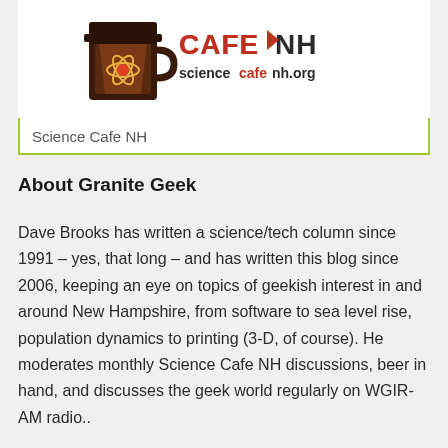[Figure (logo): Science Cafe NH logo with atom/science icon and text 'CAFE NH sciencecafenh.org']
Science Cafe NH
About Granite Geek
Dave Brooks has written a science/tech column since 1991 – yes, that long – and has written this blog since 2006, keeping an eye on topics of geekish interest in and around New Hampshire, from software to sea level rise, population dynamics to printing (3-D, of course). He moderates monthly Science Cafe NH discussions, beer in hand, and discusses the geek world regularly on WGIR-AM radio..